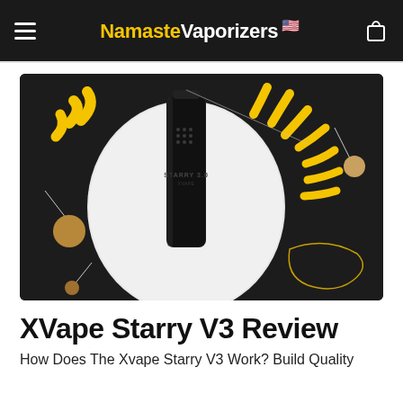NamasteVaporizers (US flag emoji)
[Figure (photo): Product photo of XVape Starry V3 vaporizer – a black cylindrical device lying on a white circular platform against a dark background with yellow decorative brush strokes and ornamental ball-and-wire elements.]
XVape Starry V3 Review
How Does The Xvape Starry V3 Work? Build Quality